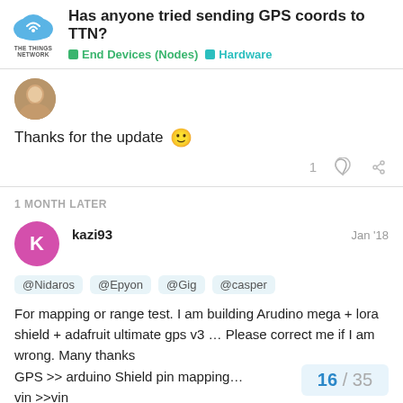Has anyone tried sending GPS coords to TTN? — End Devices (Nodes) | Hardware
[Figure (logo): The Things Network logo — cloud icon with wifi signal and text THE THINGS NETWORK]
Has anyone tried sending GPS coords to TTN?
End Devices (Nodes)  Hardware
[Figure (photo): User avatar photo — person with beard]
Thanks for the update 🙂
1 ♡ 🔗
1 MONTH LATER
kazi93   Jan '18
@Nidaros @Epyon @Gig @casper
For mapping or range test. I am building Arudino mega + lora shield + adafruit ultimate gps v3 … Please correct me if I am wrong. Many thanks
GPS >> arduino Shield pin mapping…
vin >>vin
Gnd >> gnd
16 / 35